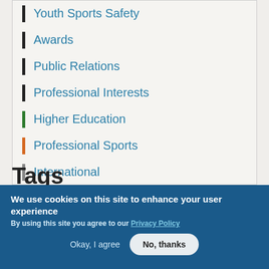Youth Sports Safety
Awards
Public Relations
Professional Interests
Higher Education
Professional Sports
International
Young Professionals
Tags
We use cookies on this site to enhance your user experience
By using this site you agree to our Privacy Policy
Okay, I agree   No, thanks